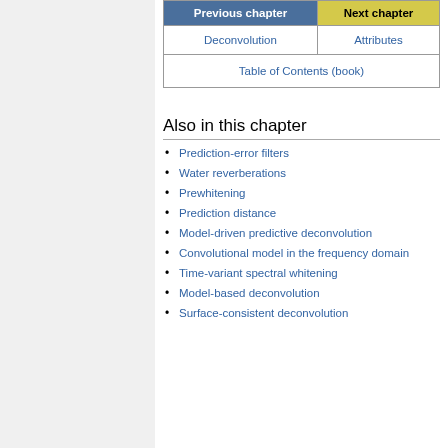| Previous chapter | Next chapter |
| --- | --- |
| Deconvolution | Attributes |
| Table of Contents (book) |  |
Also in this chapter
Prediction-error filters
Water reverberations
Prewhitening
Prediction distance
Model-driven predictive deconvolution
Convolutional model in the frequency domain
Time-variant spectral whitening
Model-based deconvolution
Surface-consistent deconvolution